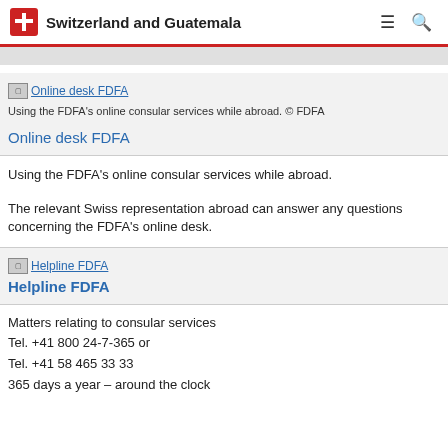Switzerland and Guatemala
[Figure (screenshot): Broken image placeholder labeled 'Online desk FDFA']
Using the FDFA's online consular services while abroad. © FDFA
Online desk FDFA
Using the FDFA's online consular services while abroad.
The relevant Swiss representation abroad can answer any questions concerning the FDFA's online desk.
[Figure (screenshot): Broken image placeholder labeled 'Helpline FDFA']
Helpline FDFA
Matters relating to consular services
Tel. +41 800 24-7-365 or
Tel. +41 58 465 33 33
365 days a year – around the clock